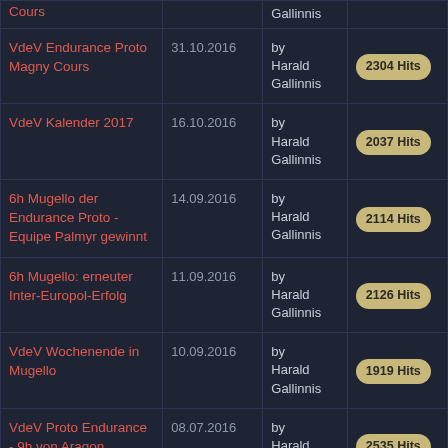| Title | Date | Author | Hits |
| --- | --- | --- | --- |
| Cours |  | Gallinnis |  |
| VdeV Endurance Proto Magny Cours | 31.10.2016 | by Harald Gallinnis | 2304 Hits |
| VdeV Kalender 2017 | 16.10.2016 | by Harald Gallinnis | 2037 Hits |
| 6h Mugello der Endurance Proto - Equipe Palmyr gewinnt | 14.09.2016 | by Harald Gallinnis | 2114 Hits |
| 6h Mugello: erneuter Inter-Europol-Erfolg | 11.09.2016 | by Harald Gallinnis | 2126 Hits |
| VdeV Wochenende in Mugello | 10.09.2016 | by Harald Gallinnis | 1919 Hits |
| VdeV Proto Endurance - 9h von Aragon | 08.07.2016 | by Harald Gallinnis | 2535 Hits |